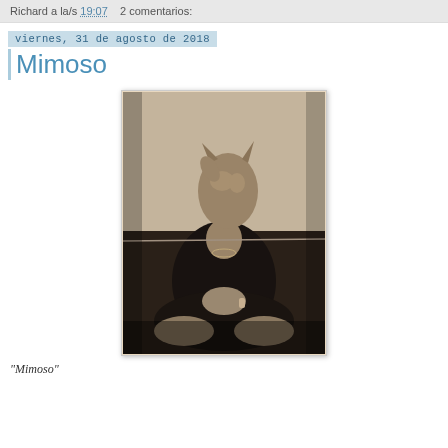Richard a la/s 19:07    2 comentarios:
viernes, 31 de agosto de 2018
Mimoso
[Figure (photo): Black and white / sepia-toned photograph of a person sitting cross-legged on the floor wearing dark clothing, with a cat perched on their head/face area, obscuring their face. The person has hands clasped in their lap and is wearing a bracelet. The background is a plain light wall.]
"Mimoso"